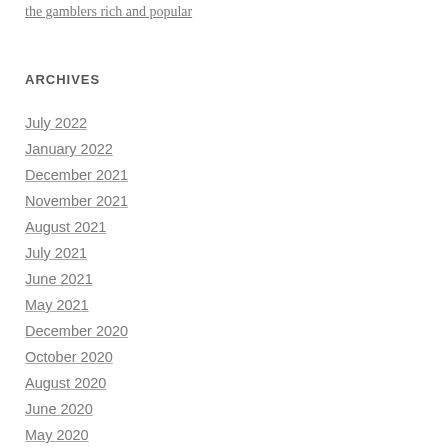the gamblers rich and popular
ARCHIVES
July 2022
January 2022
December 2021
November 2021
August 2021
July 2021
June 2021
May 2021
December 2020
October 2020
August 2020
June 2020
May 2020
April 2020